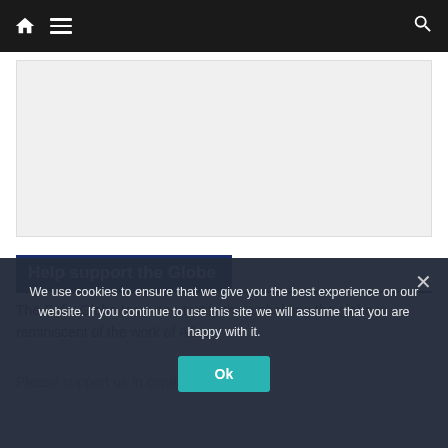[Figure (screenshot): Website navigation bar with home icon, hamburger menu icon, and search icon on dark background]
[Figure (other): Advertisement placeholder area with light gray background]
Help support the Globe
The Sofia Globe team can testify that upholding the globe is reminiscent of the work of Atlas.
Please support us in continuing to offer...
We use cookies to ensure that we give you the best experience on our website. If you continue to use this site we will assume that you are happy with it.